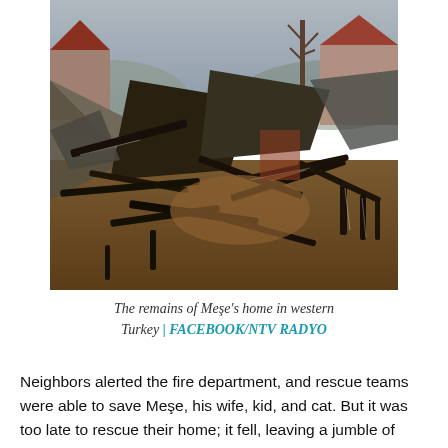[Figure (photo): Photo of the charred remains of a collapsed home — blackened timber beams, burned wooden planks, and rubble scattered on the ground. In the background, neighboring houses and a bare tree are visible under an overcast sky.]
The remains of Meşe's home in western Turkey | FACEBOOK/NTV RADYO
Neighbors alerted the fire department, and rescue teams were able to save Meşe, his wife, kid, and cat. But it was too late to rescue their home; it fell, leaving a jumble of timber boards and metal roofs in its wake.